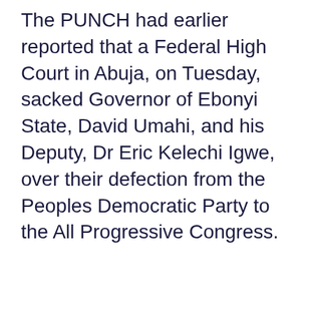The PUNCH had earlier reported that a Federal High Court in Abuja, on Tuesday, sacked Governor of Ebonyi State, David Umahi, and his Deputy, Dr Eric Kelechi Igwe, over their defection from the Peoples Democratic Party to the All Progressive Congress.